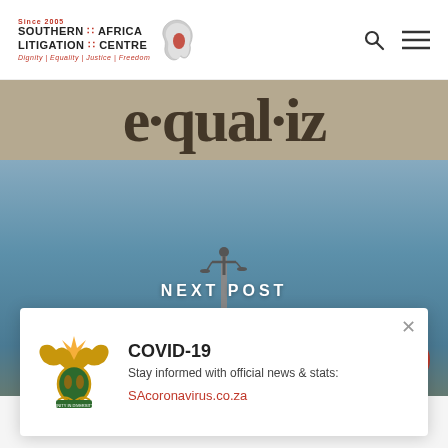[Figure (screenshot): Southern Africa Litigation Centre website header with logo (Since 2005, Southern Africa Litigation Centre, Dignity | Equality | Justice | Freedom, Africa map icon) and search/menu icons]
[Figure (photo): Close-up of the word 'equality' in dictionary or printed text, sepia toned]
[Figure (photo): Photo of court building with dome and Lady Justice statue on top against blue sky]
NEXT POST
[Figure (infographic): COVID-19 popup banner with South African coat of arms, title 'COVID-19', text 'Stay informed with official news & stats:', link 'SAcoronavirus.co.za', and close X button]
RELATED POSTS